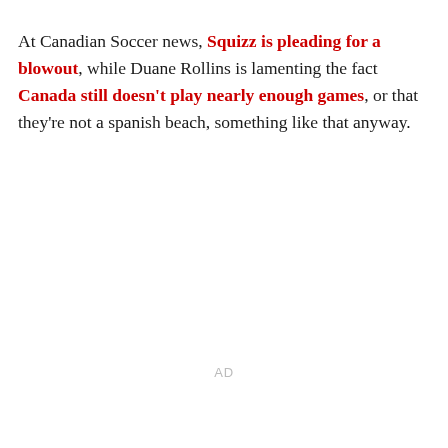At Canadian Soccer news, Squizz is pleading for a blowout, while Duane Rollins is lamenting the fact Canada still doesn't play nearly enough games, or that they're not a spanish beach, something like that anyway.
AD